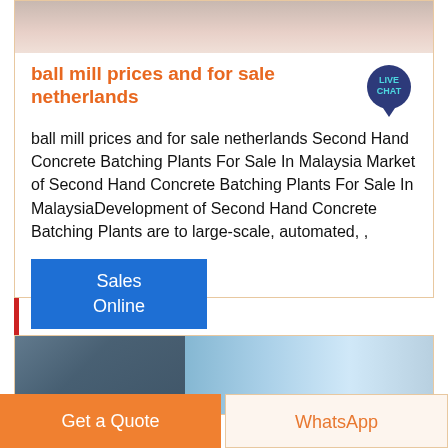[Figure (photo): Top cropped photo, light pinkish-beige abstract background, partially visible]
ball mill prices and for sale netherlands
ball mill prices and for sale netherlands Second Hand Concrete Batching Plants For Sale In Malaysia Market of Second Hand Concrete Batching Plants For Sale In MalaysiaDevelopment of Second Hand Concrete Batching Plants are to large-scale, automated, ,
[Figure (illustration): Blue 'Sales Online' button]
[Figure (photo): Industrial equipment photo: concrete batching plant structure against blue sky with clouds]
Get a Quote
WhatsApp